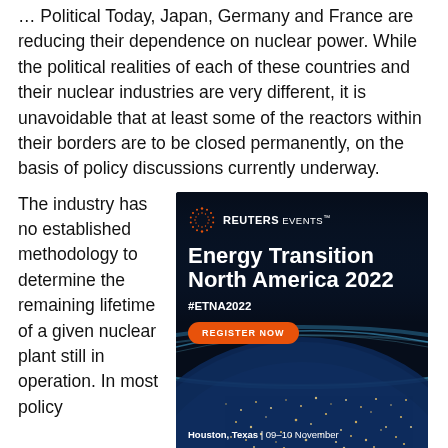…Political Today, Japan, Germany and France are reducing their dependence on nuclear power. While the political realities of each of these countries and their nuclear industries are very different, it is unavoidable that at least some of the reactors within their borders are to be closed permanently, on the basis of policy discussions currently underway.
The industry has no established methodology to determine the remaining lifetime of a given nuclear plant still in operation. In most policy
[Figure (other): Reuters Events advertisement for Energy Transition North America 2022 (#ETNA2022), Houston, Texas, 09-10 November. Features a dark background with Earth from space, Reuters Events logo, event title, hashtag, Register Now button, and location/date.]